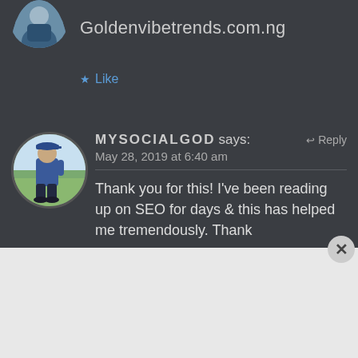[Figure (photo): Partial circular avatar photo at top left, showing a person in blue jacket, cropped]
Goldenvibetrends.com.ng
★ Like
[Figure (photo): Circular avatar photo of a person sitting in blue outfit and cap]
MYSOCIALGOD says:
↩ Reply
May 28, 2019 at 6:40 am
Thank you for this! I've been reading up on SEO for days & this has helped me tremendously. Thank
Advertisements
[Figure (screenshot): DuckDuckGo advertisement banner with orange background. Text: Search, browse, and email with more privacy. All in One Free App. Shows DuckDuckGo logo and phone mockup.]